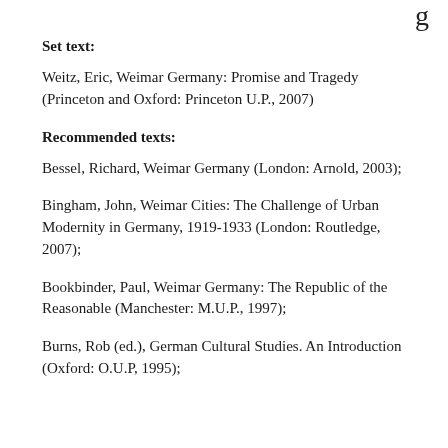g
Set text:
Weitz, Eric, Weimar Germany: Promise and Tragedy (Princeton and Oxford: Princeton U.P., 2007)
Recommended texts:
Bessel, Richard, Weimar Germany (London: Arnold, 2003);
Bingham, John, Weimar Cities: The Challenge of Urban Modernity in Germany, 1919-1933 (London: Routledge, 2007);
Bookbinder, Paul, Weimar Germany: The Republic of the Reasonable (Manchester: M.U.P., 1997);
Burns, Rob (ed.), German Cultural Studies. An Introduction (Oxford: O.U.P, 1995);